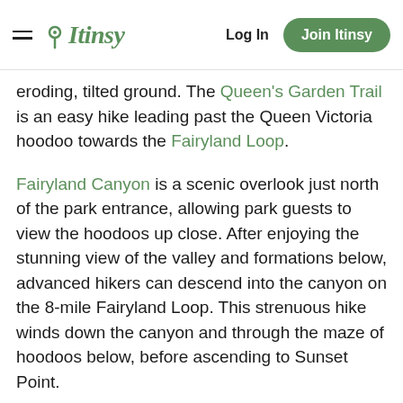Itinsy — Log In — Join Itinsy
eroding, tilted ground. The Queen's Garden Trail is an easy hike leading past the Queen Victoria hoodoo towards the Fairyland Loop.
Fairyland Canyon is a scenic overlook just north of the park entrance, allowing park guests to view the hoodoos up close. After enjoying the stunning view of the valley and formations below, advanced hikers can descend into the canyon on the 8-mile Fairyland Loop. This strenuous hike winds down the canyon and through the maze of hoodoos below, before ascending to Sunset Point.
Bryce Canyon's most famous section of hoodoos, Silent City, has its home in Sunset Point. This tightly